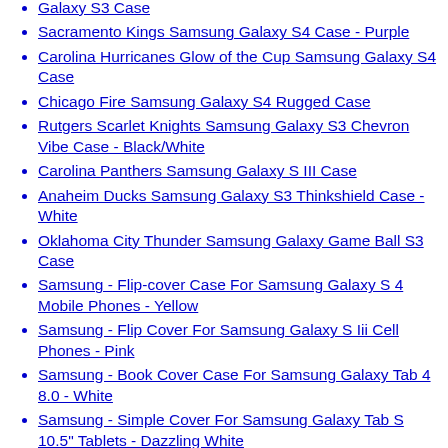Galaxy S3 Case
Sacramento Kings Samsung Galaxy S4 Case - Purple
Carolina Hurricanes Glow of the Cup Samsung Galaxy S4 Case
Chicago Fire Samsung Galaxy S4 Rugged Case
Rutgers Scarlet Knights Samsung Galaxy S3 Chevron Vibe Case - Black/White
Carolina Panthers Samsung Galaxy S III Case
Anaheim Ducks Samsung Galaxy S3 Thinkshield Case - White
Oklahoma City Thunder Samsung Galaxy Game Ball S3 Case
Samsung - Flip-cover Case For Samsung Galaxy S 4 Mobile Phones - Yellow
Samsung - Flip Cover For Samsung Galaxy S Iii Cell Phones - Pink
Samsung - Book Cover Case For Samsung Galaxy Tab 4 8.0 - White
Samsung - Simple Cover For Samsung Galaxy Tab S 10.5" Tablets - Dazzling White
Tampa Bay Rays Samsung Galaxy S3 Retro Hard Case - Navy Blue
Carolina Hurricanes Samsung Galaxy S3 Thinkshield Case - White
Miami Heat Game Ball Samsung Galaxy S4 Case